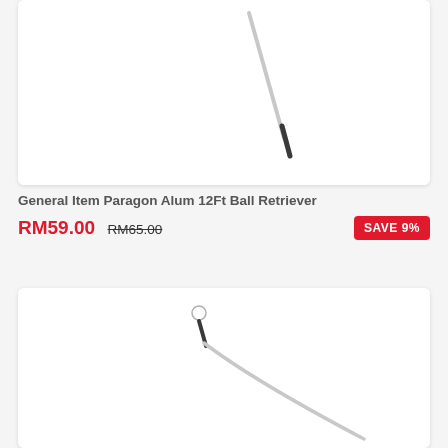[Figure (photo): Product image of a long aluminium ball retriever stick (12ft), shown diagonally with a dark grip at the lower end, on white background]
General Item Paragon Alum 12Ft Ball Retriever
RM59.00 RM65.00 SAVE 9%
[Figure (photo): Product image of another ball retriever with a small circular wire head at the top and a long white aluminium shaft curving diagonally, on white background]